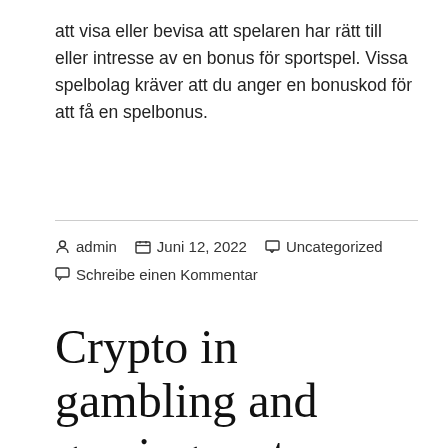att visa eller bevisa att spelaren har rätt till eller intresse av en bonus för sportspel. Vissa spelbolag kräver att du anger en bonuskod för att få en spelbonus.
admin  Juni 12, 2022  Uncategorized
Schreibe einen Kommentar
Crypto in gambling and gaming part – Paying with cryptocurrency in online